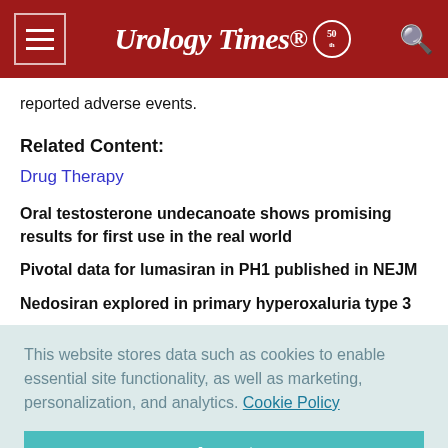Urology Times 50
reported adverse events.
Related Content:
Drug Therapy
Oral testosterone undecanoate shows promising results for first use in the real world
Pivotal data for lumasiran in PH1 published in NEJM
Nedosiran explored in primary hyperoxaluria type 3
This website stores data such as cookies to enable essential site functionality, as well as marketing, personalization, and analytics. Cookie Policy
Accept
Deny